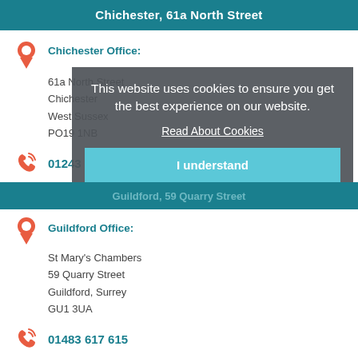Chichester, 61a North Street
Chichester Office:
61a North Street
Chichester
West Sussex
PO19 1NB
01243 786 668
Guildford, 59 Quarry Street
Guildford Office:
St Mary's Chambers
59 Quarry Street
Guildford, Surrey
GU1 3UA
01483 617 615
This website uses cookies to ensure you get the best experience on our website.
Read About Cookies
I understand